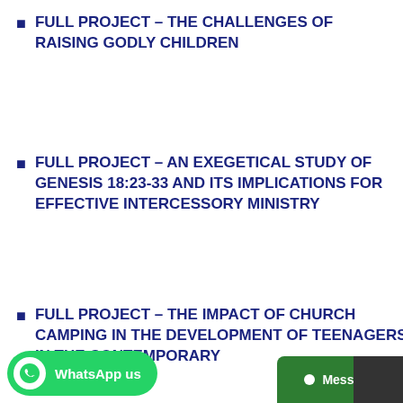FULL PROJECT – THE CHALLENGES OF RAISING GODLY CHILDREN
FULL PROJECT – AN EXEGETICAL STUDY OF GENESIS 18:23-33 AND ITS IMPLICATIONS FOR EFFECTIVE INTERCESSORY MINISTRY
FULL PROJECT – THE IMPACT OF CHURCH CAMPING IN THE DEVELOPMENT OF TEENAGERS IN THE CONTEMPORARY